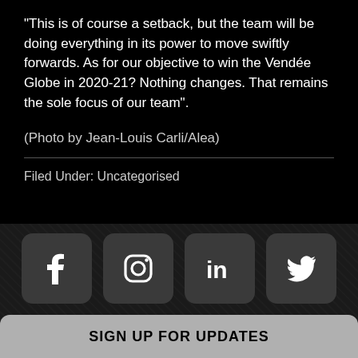“This is of course a setback, but the team will be doing everything in its power to move swiftly forwards. As for our objective to win the Vendée Globe in 2020-21? Nothing changes. That remains the sole focus of our team”.
(Photo by Jean-Louis Carli/Alea)
Filed Under: Uncategorised
[Figure (infographic): Social media icons row: Facebook, Instagram, LinkedIn, Twitter buttons on dark background, with a grey 'SIGN UP FOR UPDATES' bar at the bottom]